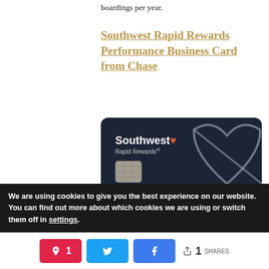boardings per year.
Southwest Rapid Rewards Performance Business Card from Chase
[Figure (photo): Southwest Rapid Rewards Performance Business Card — dark navy credit card showing Southwest logo, Rapid Rewards branding, EMV chip, heart-shaped Visa Signature design, cardholder name Gary Kelly, Performance Business label, and VISA Signature text]
We are using cookies to give you the best experience on our website.
You can find out more about which cookies we are using or switch them off in settings.
1 SHARES